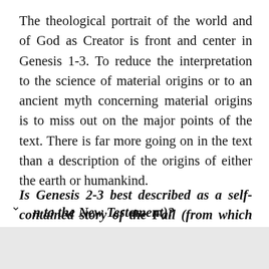The theological portrait of the world and of God as Creator is front and center in Genesis 1-3. To reduce the interpretation to the science of material origins or to an ancient myth concerning material origins is to miss out on the major points of the text. There is far more going on in the text than a description of the origins of either the earth or humankind.
Is Genesis 2-3 best described as a self-contained story of the Fall (from which we can n to the New Testament)?